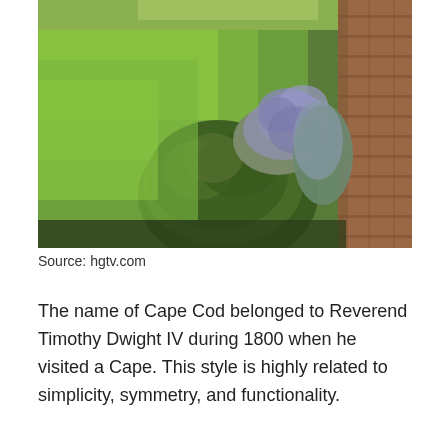[Figure (photo): Garden photo showing green lawn, rounded bushes, purple flowering plants along a brick pathway. Source: hgtv.com]
Source: hgtv.com
The name of Cape Cod belonged to Reverend Timothy Dwight IV during 1800 when he visited a Cape. This style is highly related to simplicity, symmetry, and functionality.
People often consider architects...